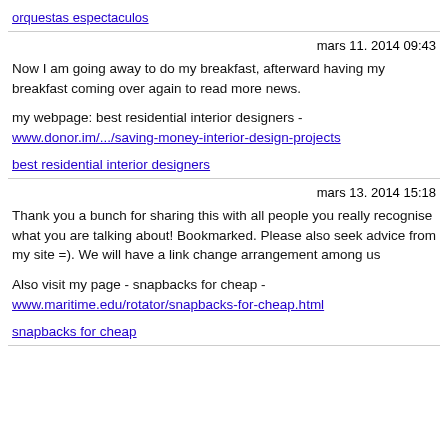orquestas espectaculos
mars 11. 2014 09:43
Now I am going away to do my breakfast, afterward having my breakfast coming over again to read more news.
my webpage:  best residential interior designers - www.donor.im/.../saving-money-interior-design-projects
best residential interior designers
mars 13. 2014 15:18
Thank you a bunch for sharing this with all people you really recognise what you are talking about! Bookmarked. Please also seek advice from my site =). We will have a link change arrangement among us
Also visit my page -  snapbacks for cheap - www.maritime.edu/rotator/snapbacks-for-cheap.html
snapbacks for cheap